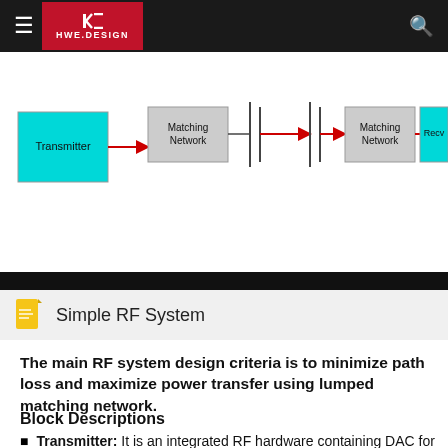HWE.DESIGN
[Figure (schematic): Simple RF System block diagram showing Transmitter connected via red arrow to Matching Network, then to antenna, then via red arrow through another antenna to Matching Network, then red arrow to Receiver. Transmitter and Receiver blocks are cyan/teal colored; Matching Network blocks are gray.]
Simple RF System
The main RF system design criteria is to minimize path loss and maximize power transfer using lumped matching network.
Block Descriptions
Transmitter: It is an integrated RF hardware containing DAC for generating